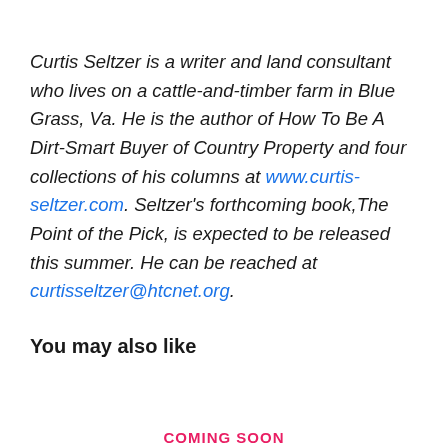Curtis Seltzer is a writer and land consultant who lives on a cattle-and-timber farm in Blue Grass, Va. He is the author of How To Be A Dirt-Smart Buyer of Country Property and four collections of his columns at www.curtis-seltzer.com. Seltzer's forthcoming book, The Point of the Pick, is expected to be released this summer. He can be reached at curtisseltzer@htcnet.org.
You may also like
COMING SOON